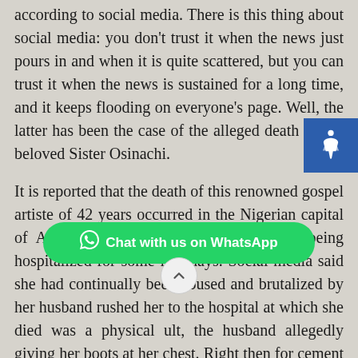according to social media. There is this thing about social media: you don't trust it when the news just pours in and when it is quite scattered, but you can trust it when the news is sustained for a long time, and it keeps flooding on everyone's page. Well, the latter has been the case of the alleged death of our beloved Sister Osinachi.
It is reported that the death of this renowned gospel artiste of 42 years occurred in the Nigerian capital of Abuja on Friday 8th April 2022, after being hospitalized for some few days. Social media said she had continually been abused and brutalized by her [husband] rushed her to the hospital at which she died was a physical [res]ult, the husband allegedly giving her boots at her chest. Right the[n f]or[c]em[ent] been fr[o]i[g]all...